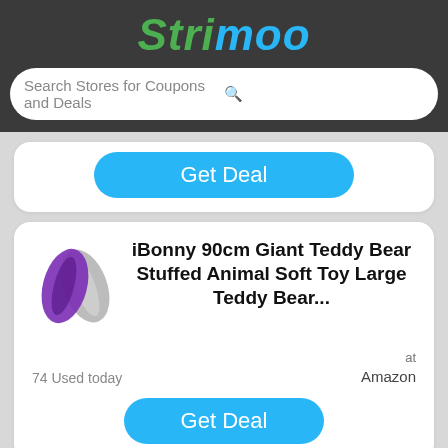Strimoo
Search Stores for Coupons and Deals
[Figure (other): Get Deal button (blue, rounded) – partial card from previous listing]
[Figure (logo): Makosas/iBonny brand logo – purple and silver overlapping leaf shapes]
iBonny 90cm Giant Teddy Bear Stuffed Animal Soft Toy Large Teddy Bear...
74 Used today
at Amazon
[Figure (other): Get Deal button (blue, rounded)]
About Makosas
[Figure (logo): Makosas brand logo – purple and silver overlapping leaf shapes (bottom card)]